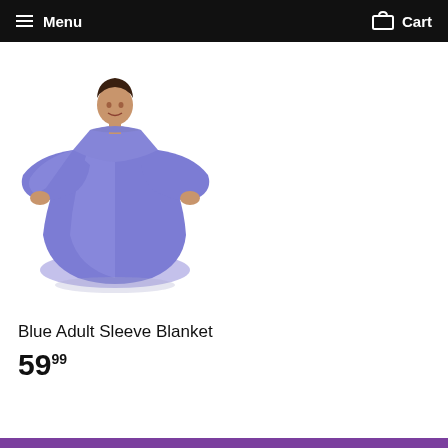Menu  Cart
[Figure (photo): A person wearing a purple/blue adult sleeve blanket, standing full length, with arms out showing the wide sleeves.]
Blue Adult Sleeve Blanket
59.99